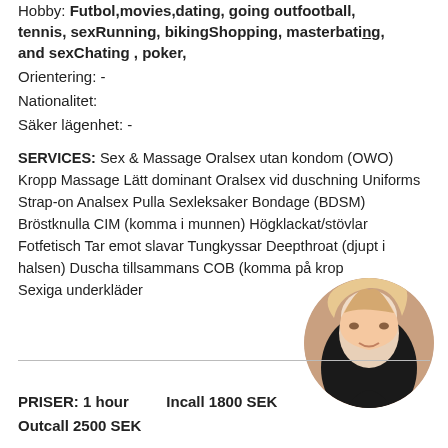Hobby: Futbol,movies,dating, going outfootball, tennis, sexRunning, bikingShopping, masterbating, and sexChating , poker,
Orientering: -
Nationalitet:
Säker lägenhet: -
SERVICES: Sex & Massage Oralsex utan kondom (OWO) Kropp Massage Lätt dominant Oralsex vid duschning Uniforms Strap-on Analsex Pulla Sexleksaker Bondage (BDSM) Bröstknulla CIM (komma i munnen) Högklackat/stövlar Fotfetisch Tar emot slavar Tungkyssar Deepthroat (djupt i halsen) Duscha tillsammans COB (komma på kroppen) Sexiga underkläder
[Figure (photo): Circular photo of a blonde woman in dark lingerie]
PRISER: 1 hour   Incall 1800 SEK
Outcall 2500 SEK